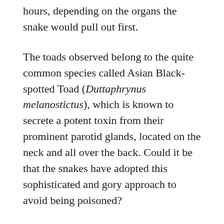hours, depending on the organs the snake would pull out first.
The toads observed belong to the quite common species called Asian Black-spotted Toad (Duttaphrynus melanostictus), which is known to secrete a potent toxin from their prominent parotid glands, located on the neck and all over the back. Could it be that the snakes have adopted this sophisticated and gory approach to avoid being poisoned?
In a fourth, and equally important, case, an adult kukri snake attacked a somewhat smaller individual of the same toad species. However, this time, the snake swallowed the entire toad.